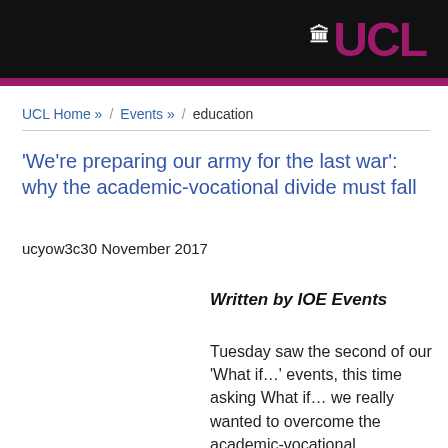[Figure (logo): UCL logo with dome icon on black background with magenta bar]
UCL Home » / Events » / education
'We're preparing our army for the last war': why the academic-vocational divide must fall
ucyow3c30 November 2017
Written by IOE Events
Tuesday saw the second of our 'What if…' events, this time asking What if… we really wanted to overcome the academic-vocational